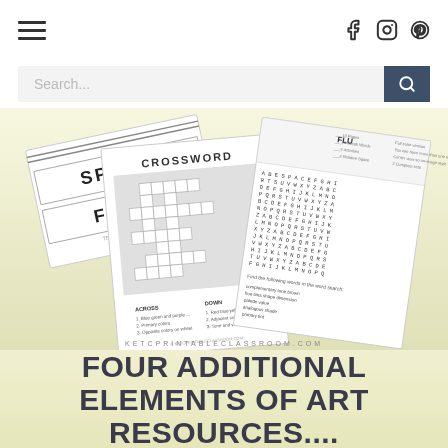[Figure (screenshot): Navigation bar with hamburger menu on left and social media icons (Facebook, Instagram, Pinterest) on right]
[Figure (screenshot): Search bar with placeholder text 'Search...' and dark search button with magnifying glass icon]
[Figure (photo): Collection of art education worksheet printables including a SPACE/FORM vocabulary card, a crossword puzzle worksheet, a word search worksheet, on a light yellow-green background. Bottom text reads KETCPRINTABLECLASSROOM.COM]
FOUR ADDITIONAL ELEMENTS OF ART RESOURCES....